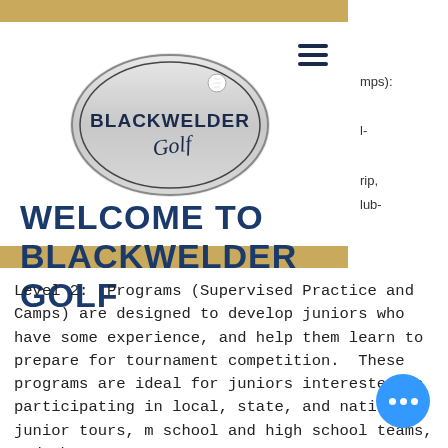[Figure (logo): Blackwelder Golf oval logo with golf ball and script lettering, silver/grey oval with dark blue text reading BLACKWELDER and script below]
WELCOME TO BLACKWELDER GOLF
mps):

l-

rip,
lub-
Level 2:  Programs (Supervised Practice and Camps) are designed to develop juniors who have some experience, and help them learn to prepare for tournament competition.  These programs are ideal for juniors interested in participating in local, state, and national junior tours, middle school and high school teams, and who